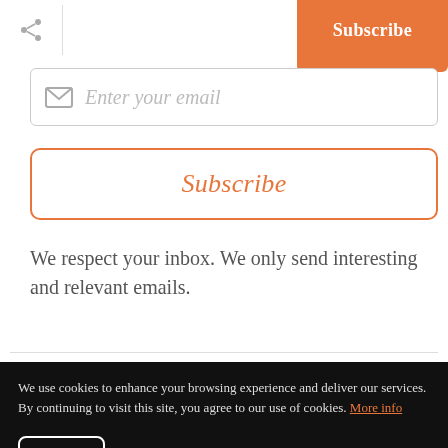[Figure (other): Share icon (network nodes) on the left and orange Subscribe button on the right in the top navigation bar]
[Figure (other): Email input field with envelope icon and placeholder text 'Enter your email']
Subscribe
We respect your inbox. We only send interesting and relevant emails.
We use cookies to enhance your browsing experience and deliver our services. By continuing to visit this site, you agree to our use of cookies. More info
OK